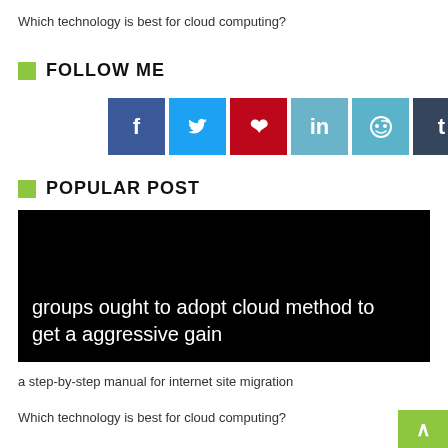Which technology is best for cloud computing?
FOLLOW ME
[Figure (other): Social media icon buttons: Facebook (blue), Twitter (light blue), Pinterest (red), LinkedIn (light blue), Reddit (teal), Tumblr (dark), VK (slate blue)]
POPULAR POST
[Figure (photo): Black background image with white text reading: groups ought to adopt cloud method to get a aggressive gain]
a step-by-step manual for internet site migration
Which technology is best for cloud computing?